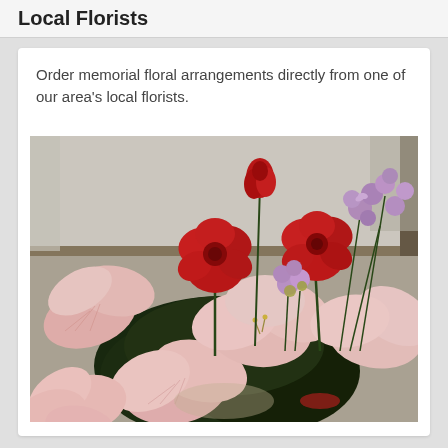Local Florists
Order memorial floral arrangements directly from one of our area's local florists.
[Figure (photo): A bouquet of mixed flowers including pink amaryllis, red carnations or roses, and purple wildflowers arranged on a light-colored surface near a window.]